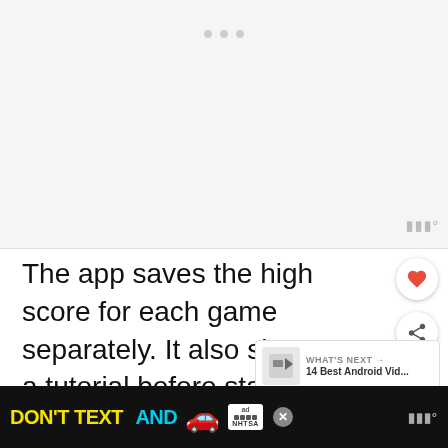[Figure (screenshot): App screenshot placeholder area with three dots/pagination indicators at top]
The app saves the high score for each game separately. It also shows you a tutorial before starting the game, so you know what you will do
[Figure (other): WHAT'S NEXT → 14 Best Android Vid... promotional widget]
The app has an average user-based rating of 5.0 on
[Figure (other): DON'T TEXT AND [car emoji] ad banner with ad and NHTSA logos, close button, and watermark]